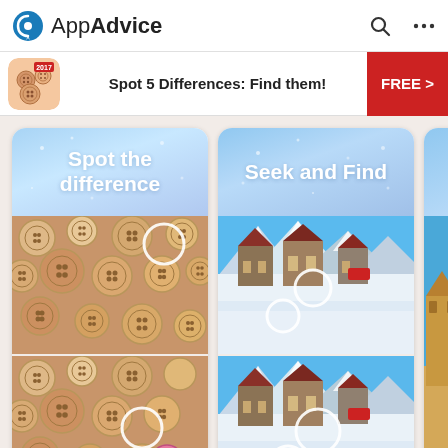AppAdvice
[Figure (screenshot): AppAdvice website header with logo, search icon, and menu icon]
[Figure (infographic): App advertisement banner: Spot 5 Differences: Find them! with app icon and FREE button]
[Figure (screenshot): Spot the difference app card showing wooden buttons puzzle images with circle markers]
[Figure (screenshot): Seek and Find app card showing alpine village scene puzzle images with circle markers]
[Figure (screenshot): Partial third app card partially visible on right edge showing sandcastle beach scene]